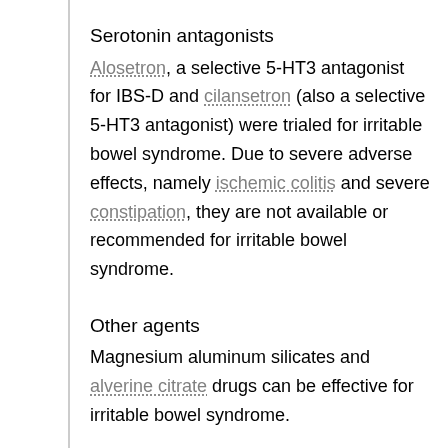Serotonin antagonists
Alosetron, a selective 5-HT3 antagonist for IBS-D and cilansetron (also a selective 5-HT3 antagonist) were trialed for irritable bowel syndrome. Due to severe adverse effects, namely ischemic colitis and severe constipation, they are not available or recommended for irritable bowel syndrome.
Other agents
Magnesium aluminum silicates and alverine citrate drugs can be effective for irritable bowel syndrome.
There is conflicting evidence about the benefit of antidepressants in IBS. Some meta-analysis have found a benefit while others have not. A meta-